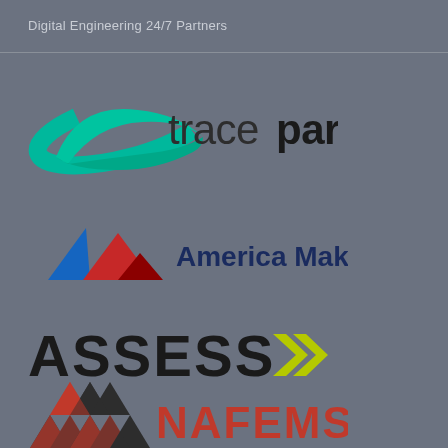Digital Engineering 24/7 Partners
[Figure (logo): TraceParts logo: teal/green crescent swoosh shape on the left with text 'trace' in regular weight and 'parts' in bold dark text]
[Figure (logo): America Makes logo: three triangular mountain shapes in blue, red, dark red with text 'America Makes' in dark navy bold]
[Figure (logo): ASSESS logo: bold black all-caps text 'ASSESS' followed by two yellow-green double chevron arrows pointing right]
[Figure (logo): NAFEMS logo: triangular lattice/grid pattern in dark and red on the left with bold red text 'NAFEMS' on the right]